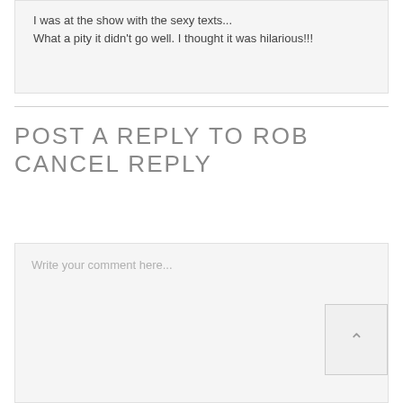I was at the show with the sexy texts... What a pity it didn't go well. I thought it was hilarious!!!
POST A REPLY TO ROB CANCEL REPLY
Write your comment here...